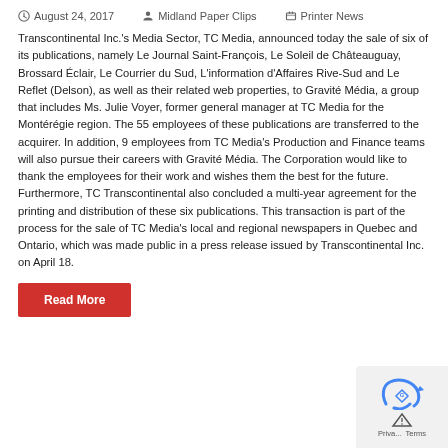August 24, 2017   Midland Paper Clips   Printer News
Transcontinental Inc.'s Media Sector, TC Media, announced today the sale of six of its publications, namely Le Journal Saint-François, Le Soleil de Châteauguay, Brossard Éclair, Le Courrier du Sud, L'information d'Affaires Rive-Sud and Le Reflet (Delson), as well as their related web properties, to Gravité Média, a group that includes Ms. Julie Voyer, former general manager at TC Media for the Montérégie region. The 55 employees of these publications are transferred to the acquirer. In addition, 9 employees from TC Media's Production and Finance teams will also pursue their careers with Gravité Média. The Corporation would like to thank the employees for their work and wishes them the best for the future. Furthermore, TC Transcontinental also concluded a multi-year agreement for the printing and distribution of these six publications. This transaction is part of the process for the sale of TC Media's local and regional newspapers in Quebec and Ontario, which was made public in a press release issued by Transcontinental Inc. on April 18.
Read More